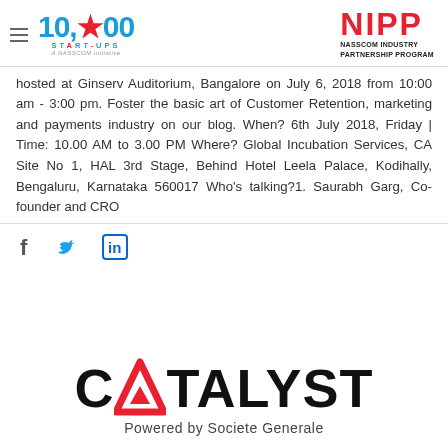[Figure (logo): 10,000 Startups — A NASSCOM Initiative logo (blue and red)]
[Figure (logo): NIPP — NASSCOM Industry Partnership Program logo (red and black)]
hosted at Ginserv Auditorium, Bangalore on July 6, 2018 from 10:00 am - 3:00 pm. Foster the basic art of Customer Retention, marketing and payments industry on our blog. When? 6th July 2018, Friday | Time: 10.00 AM to 3.00 PM Where? Global Incubation Services, CA Site No 1, HAL 3rd Stage, Behind Hotel Leela Palace, Kodihally, Bengaluru, Karnataka 560017 Who's talking?1. Saurabh Garg, Co-founder and CRO
[Figure (logo): Social share icons: Facebook (f), Twitter (bird), LinkedIn (in)]
[Figure (logo): CATALYST — Powered by Societe Generale logo]
Powered by Societe Generale